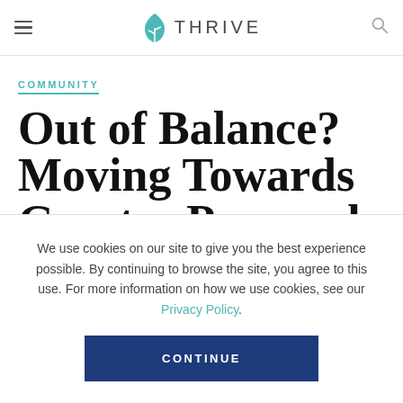THRIVE
COMMUNITY
Out of Balance? Moving Towards Greater Personal Well-Being
We use cookies on our site to give you the best experience possible. By continuing to browse the site, you agree to this use. For more information on how we use cookies, see our Privacy Policy.
CONTINUE